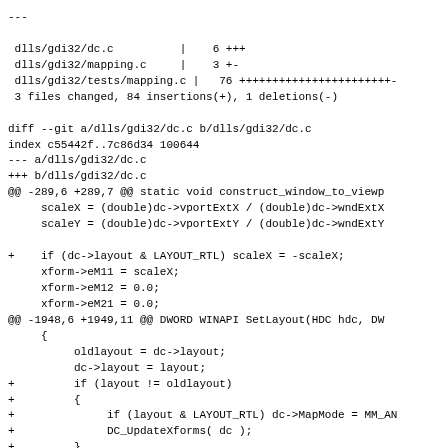---

 dlls/gdi32/dc.c          |    6 +++
 dlls/gdi32/mapping.c     |    3 +-
 dlls/gdi32/tests/mapping.c |   76 +++++++++++++++++++++++
 3 files changed, 84 insertions(+), 1 deletions(-)

diff --git a/dlls/gdi32/dc.c b/dlls/gdi32/dc.c
index c55442f..7c86d34 100644
--- a/dlls/gdi32/dc.c
+++ b/dlls/gdi32/dc.c
@@ -289,6 +289,7 @@ static void construct_window_to_viewp
      scaleX = (double)dc->vportExtX / (double)dc->wndExtX
      scaleY = (double)dc->vportExtY / (double)dc->wndExtY

+     if (dc->layout & LAYOUT_RTL) scaleX = -scaleX;
      xform->eM11 = scaleX;
      xform->eM12 = 0.0;
      xform->eM21 = 0.0;
@@ -1948,6 +1949,11 @@ DWORD WINAPI SetLayout(HDC hdc, DW
      {
           oldlayout = dc->layout;
           dc->layout = layout;
+          if (layout != oldlayout)
+          {
+               if (layout & LAYOUT_RTL) dc->MapMode = MM_AN
+               DC_UpdateXforms( dc );
+          }
           release_dc_ptr( dc );